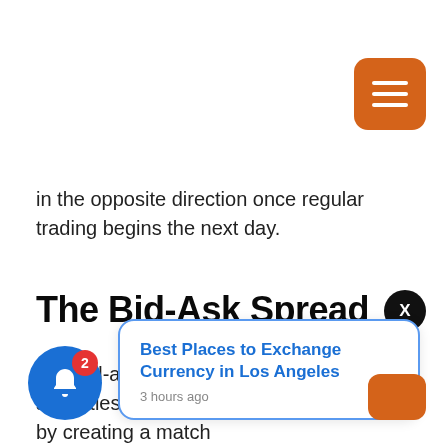[Figure (other): Orange hamburger menu button in top right corner]
in the opposite direction once regular trading begins the next day.
The Bid-Ask Spread
[Figure (other): Close (X) button, dark circle]
The bid-ask spre...tand, but i...securities are traded through exchanges by creating a match
[Figure (other): Toast notification popup: 'Best Places to Exchange Currency in Los Angeles' 3 hours ago]
[Figure (other): Blue notification bell button with badge showing 2]